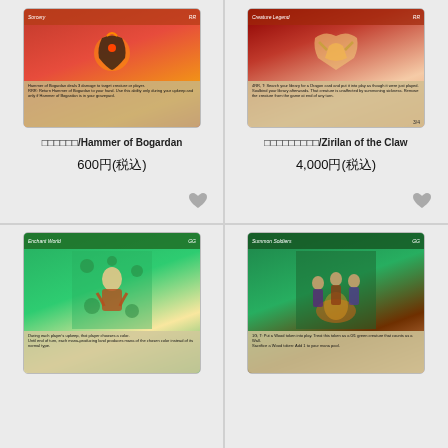[Figure (illustration): Magic: The Gathering card - Hammer of Bogardan with red/fire artwork]
□□□□□□/Hammer of Bogardan
600円(税込)
[Figure (illustration): Magic: The Gathering card - Zirilan of the Claw with dragon artwork]
□□□□□□□□□/Zirilan of the Claw
4,000円(税込)
[Figure (illustration): Magic: The Gathering card - Hall of Gemstone with green enchantment artwork]
[Figure (illustration): Magic: The Gathering card - Jungle Patrol with green/summoner artwork]